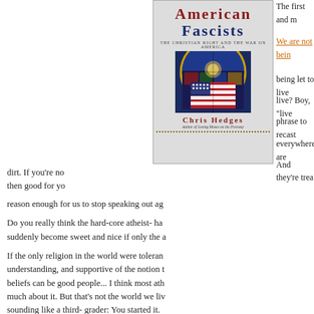[Figure (photo): Book cover of 'American Fascists: The Christian Right and the War on America' by Chris Hedges, featuring a stained glass window with an American flag, author byline, and subtitle]
The first and m[ost...]
We are not bein[g...]
being let to live[...]
live? Boy, "live[...]
phrase to recast[...]
everywhere are[...]
And they're trea[...]
dirt. If you're no[...]
then good for yo[...]
reason enough for us to stop speaking out ag[ainst it.]
Do you really think the hard-core atheist- ha[ters would] suddenly become sweet and nice if only the a[theists...]
If the only religion in the world were toleran[t...] understanding, and supportive of the notion t[hat...] beliefs can be good people... I think most ath[eists wouldn't care] much about it. But that's not the world we liv[e in.] sounding like a third- grader: You started it.